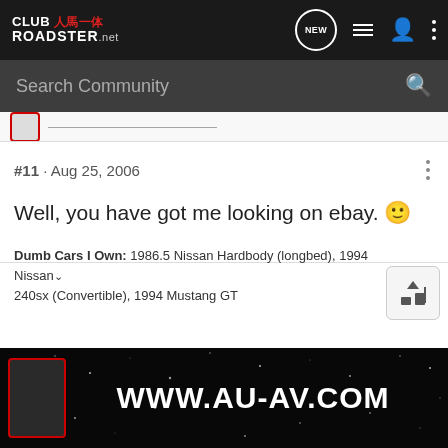CLUB ROADSTER.net — Navigation header with NEW, list, person, and menu icons
Search Community
#11 · Aug 25, 2006
Well, you have got me looking on ebay. 🙂
Dumb Cars I Own: 1986.5 Nissan Hardbody (longbed), 1994 Nissan 240sx (Convertible), 1994 Mustang GT
[Figure (screenshot): Ad banner showing WWW.AU-AV.COM in white text on black starfield background]